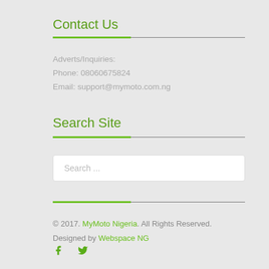Contact Us
Adverts/Inquiries:
Phone: 08060675824
Email: support@mymoto.com.ng
Search Site
Search ...
© 2017. MyMoto Nigeria. All Rights Reserved. Designed by Webspace NG